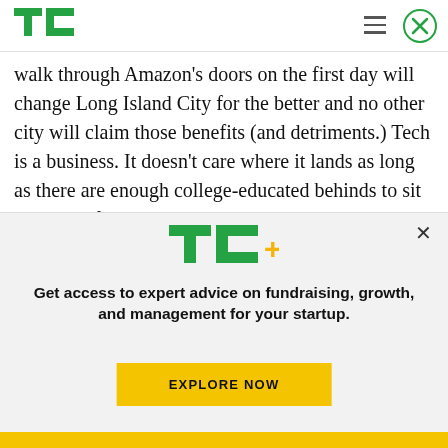TechCrunch header with logo, hamburger menu, and close button
walk through Amazon’s doors on the first day will change Long Island City for the better and no other city will claim those benefits (and detriments.) Tech is a business. It doesn’t care where it lands as long as there are enough college-educated behinds to sit on blue inflatable desk balls and enough mouths to drink free nitro coffee. It bypasses places that are
[Figure (logo): TC+ logo (TechCrunch Plus) in green and yellow]
Get access to expert advice on fundraising, growth, and management for your startup.
EXPLORE NOW